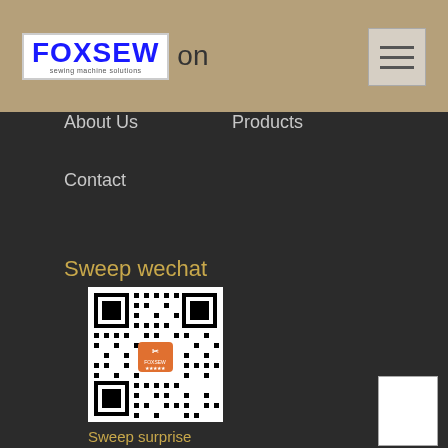[Figure (logo): FOXSEW logo in blue bold text on white background]
on
About Us
Products
Contact
Sweep wechat
[Figure (other): WeChat QR code with orange FOXSEW icon in center]
Sweep surprise
Phone：0086-576-88203637
Contact Us Now